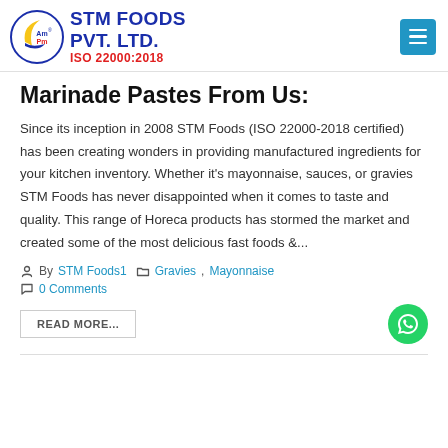STM FOODS PVT. LTD. ISO 22000:2018
Marinade Pastes From Us:
Since its inception in 2008 STM Foods (ISO 22000-2018 certified) has been creating wonders in providing manufactured ingredients for your kitchen inventory. Whether it's mayonnaise, sauces, or gravies STM Foods has never disappointed when it comes to taste and quality. This range of Horeca products has stormed the market and created some of the most delicious fast foods &...
By STM Foods1 | Gravies, Mayonnaise | 0 Comments
READ MORE...